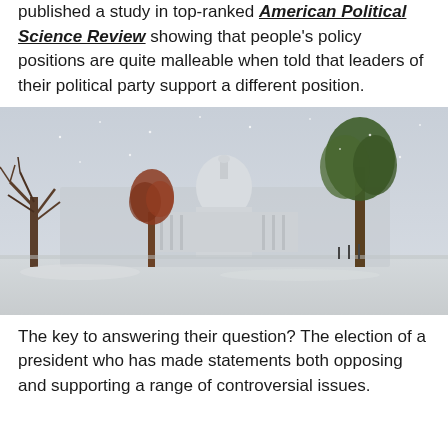published a study in top-ranked American Political Science Review showing that people's policy positions are quite malleable when told that leaders of their political party support a different position.
[Figure (photo): Snowy winter photo of the United States Capitol building in Washington D.C., surrounded by bare and leafy trees with snow on the ground and overcast sky.]
The key to answering their question? The election of a president who has made statements both opposing and supporting a range of controversial issues.